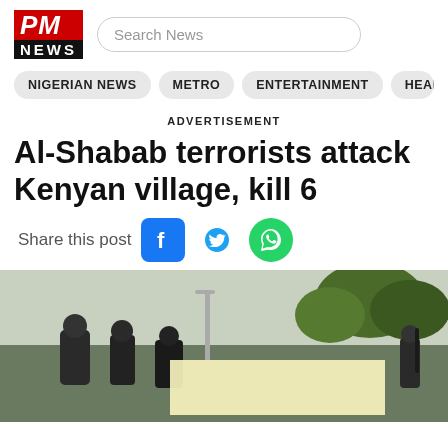[Figure (logo): PM News logo with red PM text and black NEWS bar]
Search News
NIGERIAN NEWS   METRO   ENTERTAINMENT   HEADLIN
ADVERTISEMENT
Al-Shabab terrorists attack Kenyan village, kill 6
Share this post
[Figure (photo): Photo of armed Al-Shabab militants in a village setting with trees in background and a yellow advertisement overlay box]